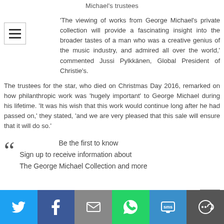Michael's trustees
'The viewing of works from George Michael's private collection will provide a fascinating insight into the broader tastes of a man who was a creative genius of the music industry, and admired all over the world,' commented Jussi Pylkkänen, Global President of Christie's.
The trustees for the star, who died on Christmas Day 2016, remarked on how philanthropic work was 'hugely important' to George Michael during his lifetime. 'It was his wish that this work would continue long after he had passed on,' they stated, 'and we are very pleased that this sale will ensure that it will do so.'
Be the first to know
Sign up to receive information about
The George Michael Collection and more